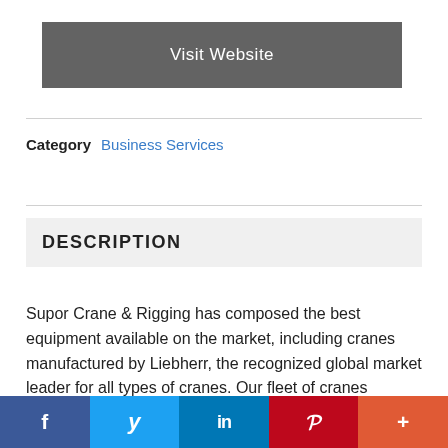Visit Website
Category  Business Services
DESCRIPTION
Supor Crane & Rigging has composed the best equipment available on the market, including cranes manufactured by Liebherr, the recognized global market leader for all types of cranes. Our fleet of cranes includes: crawler, rough terrain, all-terrain mobile, telescopic truck mounted, carry